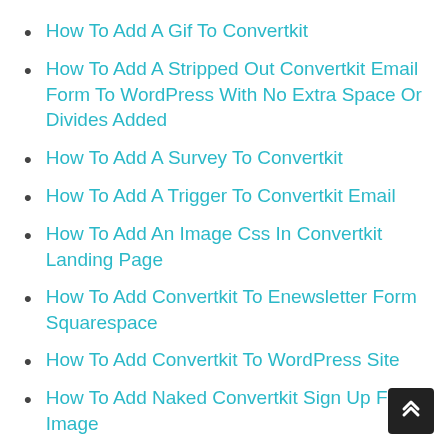How To Add A Gif To Convertkit
How To Add A Stripped Out Convertkit Email Form To WordPress With No Extra Space Or Divides Added
How To Add A Survey To Convertkit
How To Add A Trigger To Convertkit Email
How To Add An Image Css In Convertkit Landing Page
How To Add Convertkit To Enewsletter Form Squarespace
How To Add Convertkit To WordPress Site
How To Add Naked Convertkit Sign Up Form Image